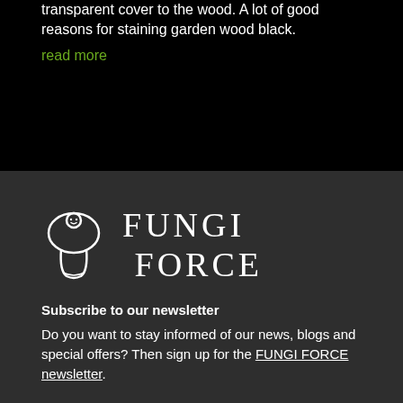transparent cover to the wood. A lot of good reasons for staining garden wood black.
read more
[Figure (logo): Fungi Force logo: white mushroom-shaped icon with stylized face, next to bold serif text reading FUNGI FORCE]
Subscribe to our newsletter
Do you want to stay informed of our news, blogs and special offers? Then sign up for the FUNGI FORCE newsletter.